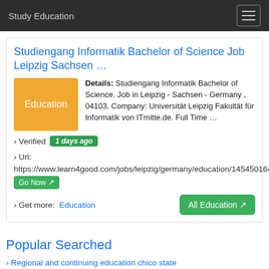Study Education
Studiengang Informatik Bachelor of Science Job Leipzig Sachsen …
Details: Studiengang Informatik Bachelor of Science. Job in Leipzig - Sachsen - Germany , 04103. Company: Universität Leipzig Fakultät für Informatik von ITmitte.de. Full Time …
› Verified  1 days ago
› Url: https://www.learn4good.com/jobs/leipzig/germany/education/1454501644/e/  Go Now
› Get more:  Education    All Education
Popular Searched
› Regional and continuing education chico state